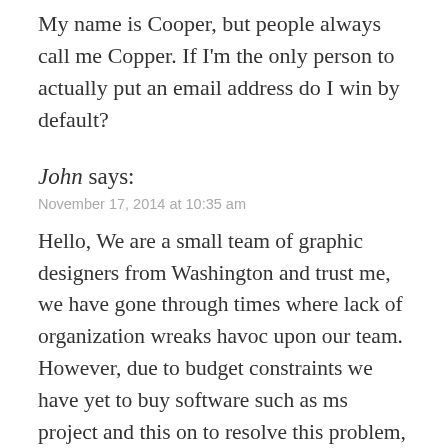My name is Cooper, but people always call me Copper. If I'm the only person to actually put an email address do I win by default?
John says:
November 17, 2014 at 10:35 am
Hello, We are a small team of graphic designers from Washington and trust me, we have gone through times where lack of organization wreaks havoc upon our team. However, due to budget constraints we have yet to buy software such as ms project and this on to resolve this problem, only using apps such as onenote and gogle cal to manage our project. Thus, we passionately believe that with an online tool like the one you are offering to manage projects and